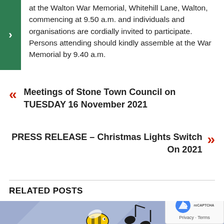at the Walton War Memorial, Whitehill Lane, Walton, commencing at 9.50 a.m. and individuals and organisations are cordially invited to participate. Persons attending should kindly assemble at the War Memorial by 9.40 a.m.
« Meetings of Stone Town Council on TUESDAY 16 November 2021
PRESS RELEASE – Christmas Lights Switch On 2021 »
RELATED POSTS
[Figure (illustration): Partial view of a music-themed illustration with a blue/grey background showing musical notes and a cartoon bee or bird figure]